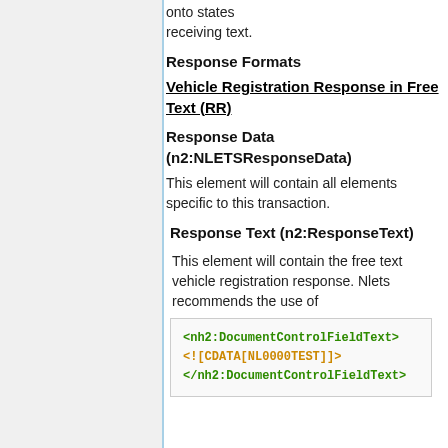onto states receiving text.
Response Formats
Vehicle Registration Response in Free Text (RR)
Response Data (n2:NLETSResponseData)
This element will contain all elements specific to this transaction.
Response Text (n2:ResponseText)
This element will contain the free text vehicle registration response. Nlets recommends the use of
<nh2:DocumentControlFieldText>
<![CDATA[NL0000TEST]]>
</nh2:DocumentControlFieldText>